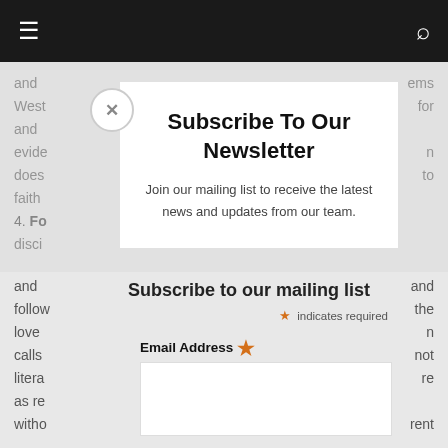≡  [navigation bar]  🔍
Subscribe To Our Newsletter
Join our mailing list to receive the latest news and updates from our team.
Subscribe to our mailing list
* indicates required
Email Address *